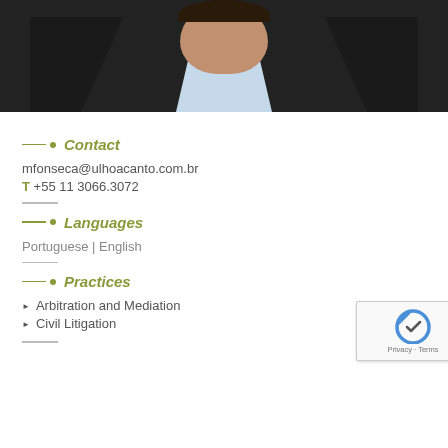[Figure (photo): Headshot photo of a man wearing a dark blazer and light blue shirt, cropped from chest up]
Contact
mfonseca@ulhoacanto.com.br
T +55 11 3066.3072
Languages
Portuguese | English
Practices
Arbitration and Mediation
Civil Litigation